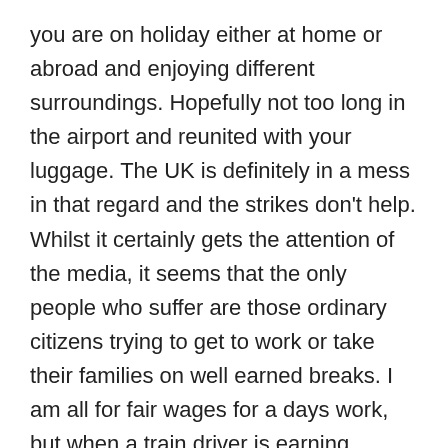you are on holiday either at home or abroad and enjoying different surroundings. Hopefully not too long in the airport and reunited with your luggage. The UK is definitely in a mess in that regard and the strikes don't help. Whilst it certainly gets the attention of the media, it seems that the only people who suffer are those ordinary citizens trying to get to work or take their families on well earned breaks. I am all for fair wages for a days work, but when a train driver is earning almost three times more than a nurse and considerably more than a fireman, it does seem a little aggresive. Whilst the leadership of the UK is in flux I suppose it is seen as an opportunity to cause as much chaos as possible.
On the home front, rain has caused a stoppage of work for the main contractor. To be honest he has painted three